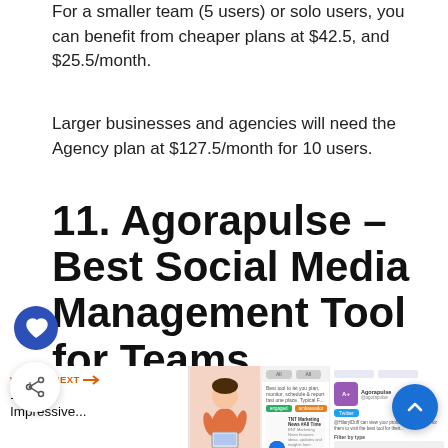For a smaller team (5 users) or solo users, you can benefit from cheaper plans at $42.5, and $25.5/month.
Larger businesses and agencies will need the Agency plan at $127.5/month for 10 users.
11. Agorapulse – Best Social Media Management Tool for Teams
[Figure (screenshot): Bottom navigation bar showing 'WHAT'S NEXT' label with '120 Impressive...' text on the left, a person illustration, and Agorapulse UI screenshots on the right. A blue scroll-to-top arrow button is visible at bottom right.]